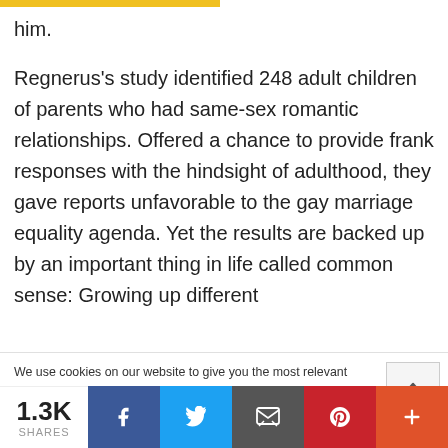him.
Regnerus’s study identified 248 adult children of parents who had same-sex romantic relationships. Offered a chance to provide frank responses with the hindsight of adulthood, they gave reports unfavorable to the gay marriage equality agenda. Yet the results are backed up by an important thing in life called common sense: Growing up different
We use cookies on our website to give you the most relevant experience by remembering your preferences and repeat visits. By clicking “Accept All”, you consent to the use of ALL the cookies. However, you may visit “Cookie Settings” to provide a controlled consent.
1.3K SHARES